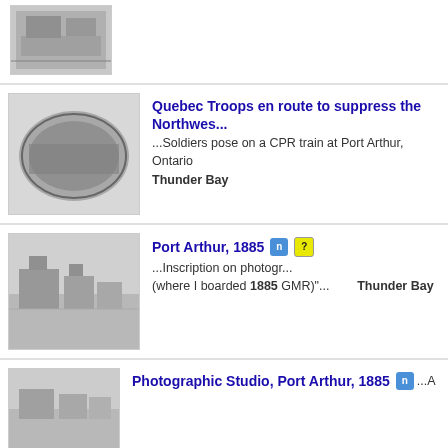[Figure (photo): Black and white historical photograph of a building in a snowy landscape]
[Figure (photo): Black and white photo of soldiers posing on a CPR train]
Quebec Troops en route to suppress the Northwest
...Soldiers pose on a CPR train at Port Arthur, Ontario
Thunder Bay
[Figure (photo): Black and white photo of Port Arthur, 1885, showing buildings in snow]
Port Arthur, 1885
...Inscription on photogr. (where I boarded 1885 GMR)"... Thunder Bay
[Figure (photo): Black and white photo of a photographic studio in Port Arthur, 1885]
Photographic Studio, Port Arthur, 1885
...A